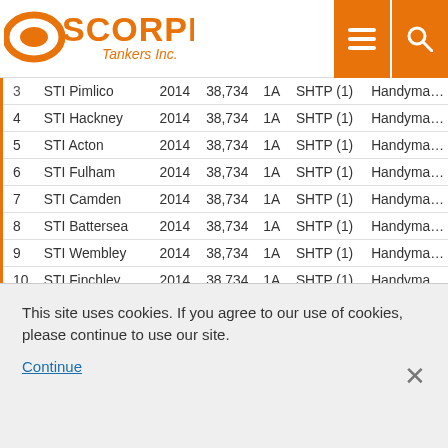Scorpio Tankers Inc.
| # | Vessel Name | Year | DWT | Class | Pool | Type |
| --- | --- | --- | --- | --- | --- | --- |
| 3 | STI Pimlico | 2014 | 38,734 | 1A | SHTP (1) | Handymax |
| 4 | STI Hackney | 2014 | 38,734 | 1A | SHTP (1) | Handymax |
| 5 | STI Acton | 2014 | 38,734 | 1A | SHTP (1) | Handymax |
| 6 | STI Fulham | 2014 | 38,734 | 1A | SHTP (1) | Handymax |
| 7 | STI Camden | 2014 | 38,734 | 1A | SHTP (1) | Handymax |
| 8 | STI Battersea | 2014 | 38,734 | 1A | SHTP (1) | Handymax |
| 9 | STI Wembley | 2014 | 38,734 | 1A | SHTP (1) | Handymax |
| 10 | STI Finchley | 2014 | 38,734 | 1A | SHTP (1) | Handymax |
| 11 | STI Clapham | 2014 | 38,734 | 1A | SHTP (1) | Handymax |
| 12 | STI Poplar | 2014 | 38,734 | 1A | SHTP (1) | Handymax |
| 13 | STI … | 2015 | 38,734 | 1A | SHTP (1) | Handymax |
This site uses cookies. If you agree to our use of cookies, please continue to use our site.
Continue